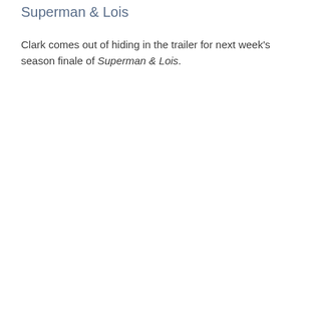Superman & Lois
Clark comes out of hiding in the trailer for next week's season finale of Superman & Lois.